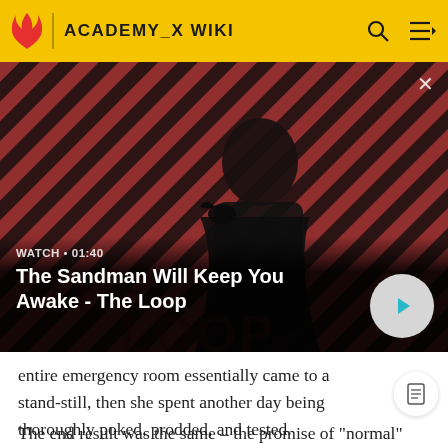ACADEMY_X WIKI
[Figure (screenshot): Video thumbnail showing a dark-featured man in a black coat with a raven on his shoulder, against a red and black diagonal stripe background with 'THE LOOP' text. Video label reads 'WATCH • 01:40'. Title overlay: 'The Sandman Will Keep You Awake - The Loop'. Play button on right.]
entire emergency room essentially came to a stand-still, then she spent another day being thoroughly poked, prodded, and tested.
The end result was the same – the promise of "normal" after surgery. Her mother cried, her brothers were